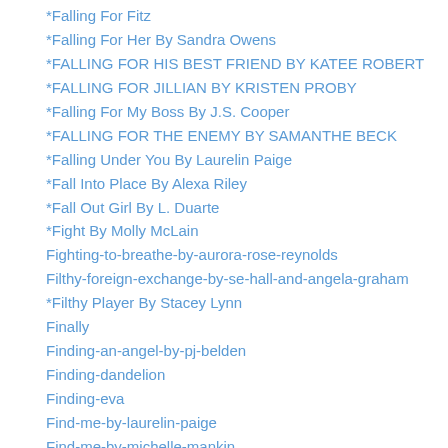*Falling For Fitz
*Falling For Her By Sandra Owens
*FALLING FOR HIS BEST FRIEND BY KATEE ROBERT
*FALLING FOR JILLIAN BY KRISTEN PROBY
*Falling For My Boss By J.S. Cooper
*FALLING FOR THE ENEMY BY SAMANTHE BECK
*Falling Under You By Laurelin Paige
*Fall Into Place By Alexa Riley
*Fall Out Girl By L. Duarte
*Fight By Molly McLain
Fighting-to-breathe-by-aurora-rose-reynolds
Filthy-foreign-exchange-by-se-hall-and-angela-graham
*Filthy Player By Stacey Lynn
Finally
Finding-an-angel-by-pj-belden
Finding-dandelion
Finding-eva
Find-me-by-laurelin-paige
Find-me-by-michelle-mankin
Fire-by-kate-meader
First-and-last-by-rachael-duncan
First-came-you-by-faith-andrews